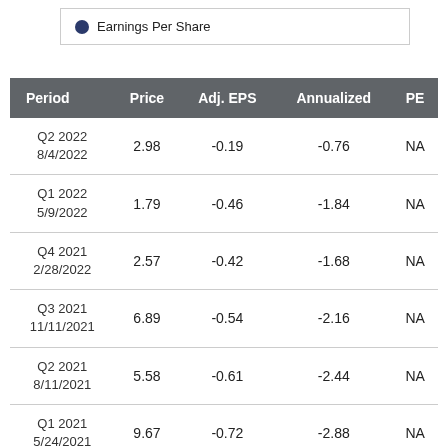[Figure (other): Legend box showing blue dot with label 'Earnings Per Share']
| Period | Price | Adj. EPS | Annualized | PE |
| --- | --- | --- | --- | --- |
| Q2 2022
8/4/2022 | 2.98 | -0.19 | -0.76 | NA |
| Q1 2022
5/9/2022 | 1.79 | -0.46 | -1.84 | NA |
| Q4 2021
2/28/2022 | 2.57 | -0.42 | -1.68 | NA |
| Q3 2021
11/11/2021 | 6.89 | -0.54 | -2.16 | NA |
| Q2 2021
8/11/2021 | 5.58 | -0.61 | -2.44 | NA |
| Q1 2021
5/24/2021 | 9.67 | -0.72 | -2.88 | NA |